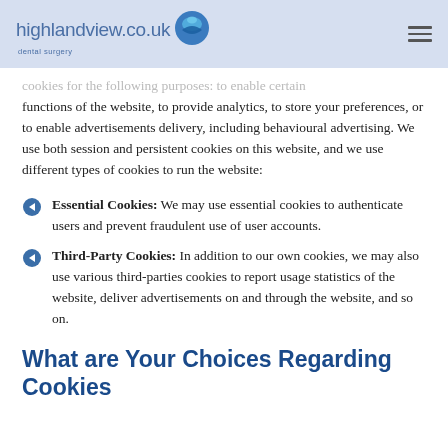highlandview.co.uk dental surgery
cookies for the following purposes: to enable certain functions of the website, to provide analytics, to store your preferences, or to enable advertisements delivery, including behavioural advertising. We use both session and persistent cookies on this website, and we use different types of cookies to run the website:
Essential Cookies: We may use essential cookies to authenticate users and prevent fraudulent use of user accounts.
Third-Party Cookies: In addition to our own cookies, we may also use various third-parties cookies to report usage statistics of the website, deliver advertisements on and through the website, and so on.
What are Your Choices Regarding Cookies